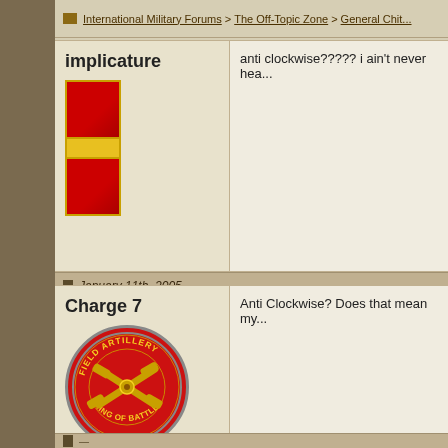International Military Forums > The Off-Topic Zone > General Chit...
implicature
[Figure (illustration): Military rank badge with two red rectangles separated by a yellow/gold stripe, bordered in gold]
anti clockwise????? i ain't never hea...
January 11th, 2005
Charge 7
[Figure (illustration): Field Artillery badge - red circular emblem with crossed cannons and text 'FIELD ARTILLERY' and 'KING OF BATTLE']
Anti Clockwise? Does that mean my...